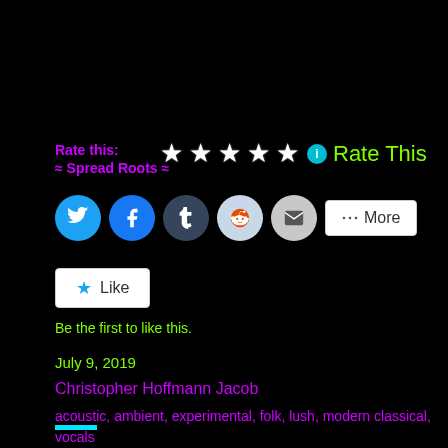Rate this:
[Figure (other): Star rating widget with 5 stars and info icon, followed by Rate This text in green]
≈ Spread Roots ≈
[Figure (other): Social sharing buttons: Twitter, Facebook, Tumblr, Reddit, Email, and More button]
[Figure (other): Like button with star icon]
Be the first to like this.
July 9, 2019
Christopher Hoffmann Jacob
acoustic, ambient, experimental, folk, lush, modern classical, vocals